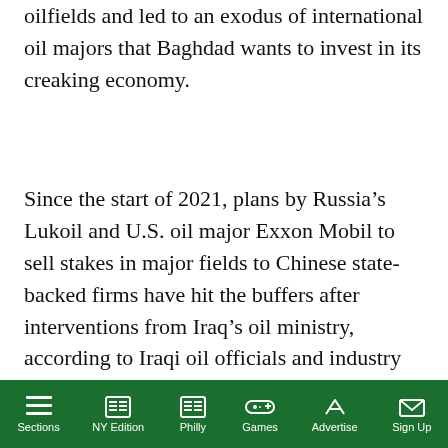oilfields and led to an exodus of international oil majors that Baghdad wants to invest in its creaking economy.
Since the start of 2021, plans by Russia’s Lukoil and U.S. oil major Exxon Mobil to sell stakes in major fields to Chinese state-backed firms have hit the buffers after interventions from Iraq’s oil ministry, according to Iraqi oil officials and industry executives.
[Figure (screenshot): AP video popup overlay showing 'AP correspondents reflect on the d...' with a dark nighttime video thumbnail. AP logo in top left, yellow mute button, text 'AP JOURNALISTS REMEMBER PRINCESS' overlaid on dark street scene. Close button (X) in top right of popup bar.]
...hese company was considered by ...ed it to stay in Iraq for now, people familiar with the matter said
Sections | NY Edition | Philly | Games | Advertise | Sign Up